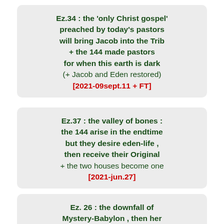Ez.34 : the 'only Christ gospel' preached by today's pastors will bring Jacob into the Trib + the 144 made pastors for when this earth is dark (+ Jacob and Eden restored) [2021-09sept.11 + FT]
Ez.37 : the valley of bones : the 144 arise in the endtime but they desire eden-life , then receive their Original + the two houses become one [2021-jun.27]
Ez. 26 : the downfall of Mystery-Babylon , then her